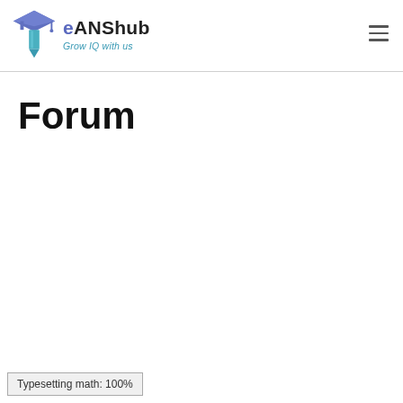[Figure (logo): eANShub logo with graduation cap icon and tagline 'Grow IQ with us']
Forum
Typesetting math: 100%